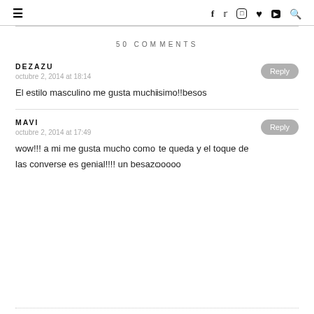≡  f  𝕏  ◻  ♥  ▶  🔍
50 COMMENTS
DEZAZU
octubre 2, 2014 at 18:14
El estilo masculino me gusta muchisimo!!besos
MAVI
octubre 2, 2014 at 17:49
wow!!! a mi me gusta mucho como te queda y el toque de las converse es genial!!!! un besazooooo